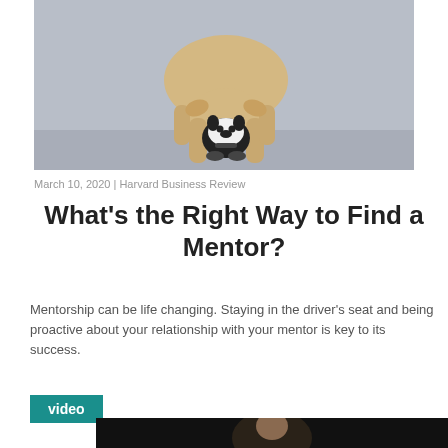[Figure (photo): Two dogs on a grey background — a large tan dog bending down over a small black and white Boston Terrier puppy.]
March 10, 2020 | Harvard Business Review
What's the Right Way to Find a Mentor?
Mentorship can be life changing. Staying in the driver's seat and being proactive about your relationship with your mentor is key to its success.
video
[Figure (photo): Dark video thumbnail showing a person's face partially visible.]